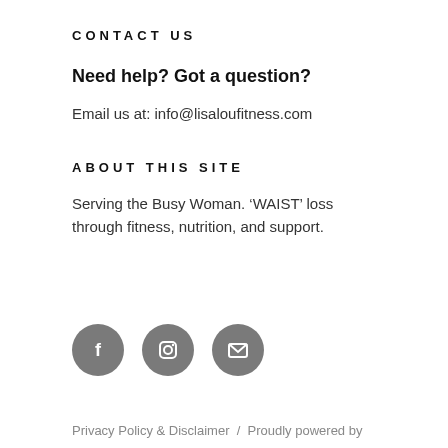CONTACT US
Need help? Got a question?
Email us at: info@lisaloufitness.com
ABOUT THIS SITE
Serving the Busy Woman. ‘WAIST’ loss through fitness, nutrition, and support.
[Figure (illustration): Three circular social media icons in dark grey: Facebook (f), Instagram (camera/square), and Email (envelope)]
Privacy Policy & Disclaimer  /  Proudly powered by